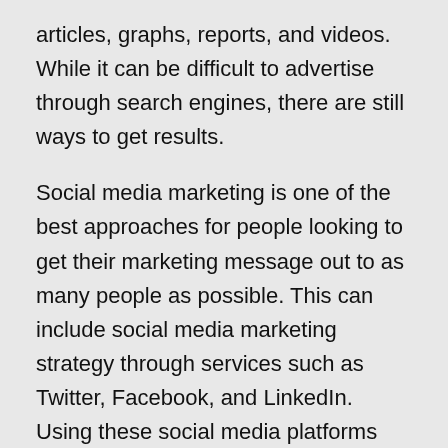articles, graphs, reports, and videos. While it can be difficult to advertise through search engines, there are still ways to get results.
Social media marketing is one of the best approaches for people looking to get their marketing message out to as many people as possible. This can include social media marketing strategy through services such as Twitter, Facebook, and LinkedIn. Using these social media platforms can help you reach out to people who share your interests.
For those who are looking to attract people who are already interested in your business, consider providing high-quality content. In addition to providing great content, ensure that your content can be easily accessible through other services, such as video and audio. People who are